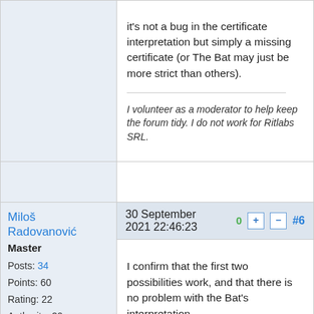it's not a bug in the certificate interpretation but simply a missing certificate (or The Bat may just be more strict than others).
I volunteer as a moderator to help keep the forum tidy. I do not work for Ritlabs SRL.
Miloš Radovanović
Master
Posts: 34
Points: 60
Rating: 22
Authority: 20
30 September 2021 22:46:23
#6
I confirm that the first two possibilities work, and that there is no problem with the Bat's interpretation.